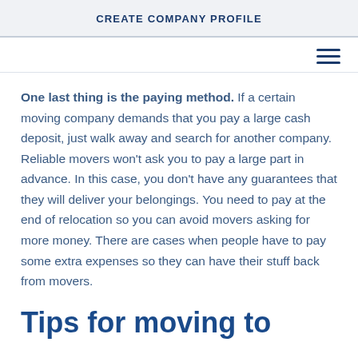CREATE COMPANY PROFILE
One last thing is the paying method. If a certain moving company demands that you pay a large cash deposit, just walk away and search for another company. Reliable movers won't ask you to pay a large part in advance. In this case, you don't have any guarantees that they will deliver your belongings. You need to pay at the end of relocation so you can avoid movers asking for more money. There are cases when people have to pay some extra expenses so they can have their stuff back from movers.
Tips for moving to